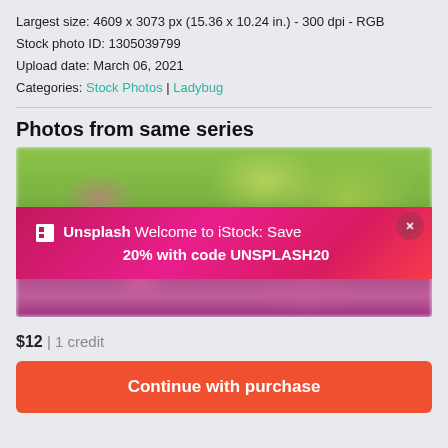Largest size: 4609 x 3073 px (15.36 x 10.24 in.) - 300 dpi - RGB
Stock photo ID: 1305039799
Upload date: March 06, 2021
Categories: Stock Photos | Ladybug
Photos from same series
[Figure (screenshot): A blurred nature photo showing green foliage and pink/magenta flowers, with an Unsplash promotional banner overlay reading 'Unsplash Welcome to iStock: Save 20% with code UNSPLASH20' on a magenta/pink gradient background with a close button.]
$12 | 1 credit
Continue with purchase